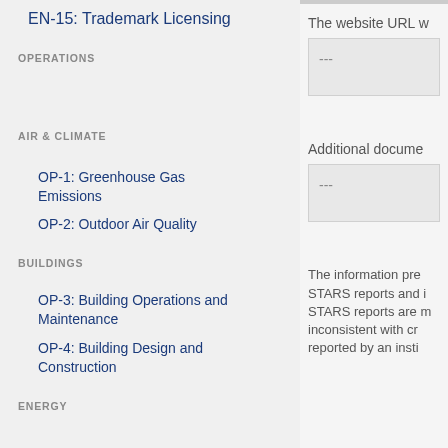EN-15: Trademark Licensing
OPERATIONS
AIR & CLIMATE
OP-1: Greenhouse Gas Emissions
OP-2: Outdoor Air Quality
BUILDINGS
OP-3: Building Operations and Maintenance
OP-4: Building Design and Construction
ENERGY
The website URL w
---
Additional docume
---
The information pre STARS reports and i STARS reports are m inconsistent with cr reported by an insti